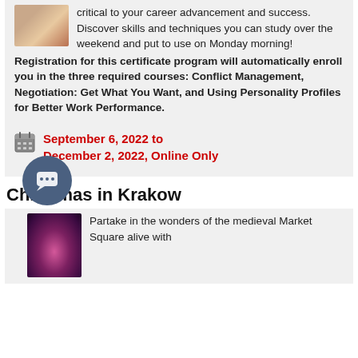[Figure (photo): Small thumbnail image of people or classroom scene]
critical to your career advancement and success. Discover skills and techniques you can study over the weekend and put to use on Monday morning!
Registration for this certificate program will automatically enroll you in the three required courses: Conflict Management, Negotiation: Get What You Want, and Using Personality Profiles for Better Work Performance.
September 6, 2022 to December 2, 2022, Online Only
Christmas in Krakow
[Figure (photo): Christmas ornament or decoration photo]
Partake in the wonders of the medieval Market Square alive with